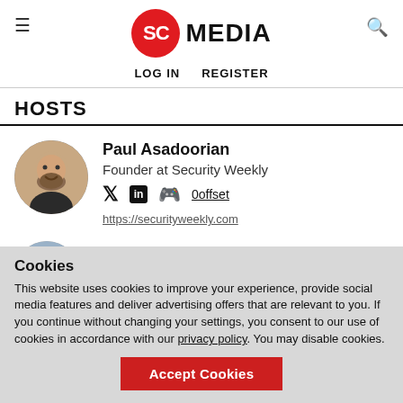[Figure (logo): SC Media logo with red circle containing 'SC' text and 'MEDIA' text to the right]
LOG IN   REGISTER
HOSTS
Paul Asadoorian
Founder at Security Weekly
[Twitter] [LinkedIn] [Discord] 0offset
https://securityweekly.com
Matt Alderman
Cookies
This website uses cookies to improve your experience, provide social media features and deliver advertising offers that are relevant to you. If you continue without changing your settings, you consent to our use of cookies in accordance with our privacy policy. You may disable cookies.
[Accept Cookies]